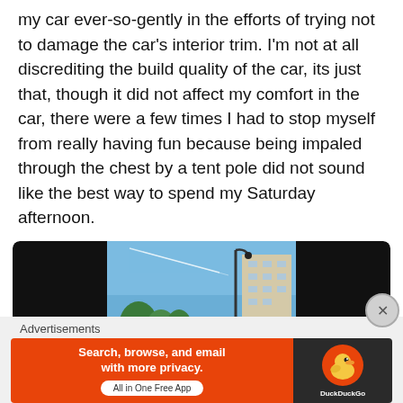my car ever-so-gently in the efforts of trying not to damage the car's interior trim. I'm not at all discrediting the build quality of the car, its just that, though it did not affect my comfort in the car, there were a few times I had to stop myself from really having fun because being impaled through the chest by a tent pole did not sound like the best way to spend my Saturday afternoon.
[Figure (photo): A video player showing a car photographed from behind, with blue sky, trees, and a building visible. The player has black bars on the left and right sides (letterbox/pillarbox format).]
Advertisements
[Figure (screenshot): DuckDuckGo advertisement banner. Left orange side reads 'Search, browse, and email with more privacy. All in One Free App'. Right dark side shows DuckDuckGo duck logo and brand name.]